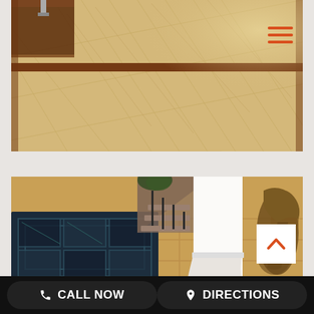[Figure (photo): Close-up photo of hardwood flooring with herringbone pattern in light maple/birch wood, framed by dark walnut border strips. A dark wood table or furniture edge visible at top left. Warm natural lighting.]
[Figure (photo): Interior room photo showing hardwood wood floors with a dark patterned area rug on the left, white wainscoting column/post in the center, a curved staircase with dark metal balusters in background, and a bronze animal sculpture on the right side.]
CALL NOW
DIRECTIONS